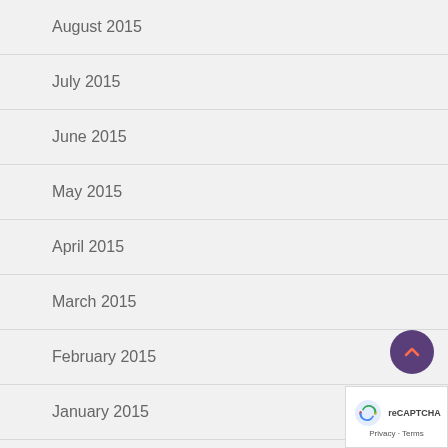August 2015
July 2015
June 2015
May 2015
April 2015
March 2015
February 2015
January 2015